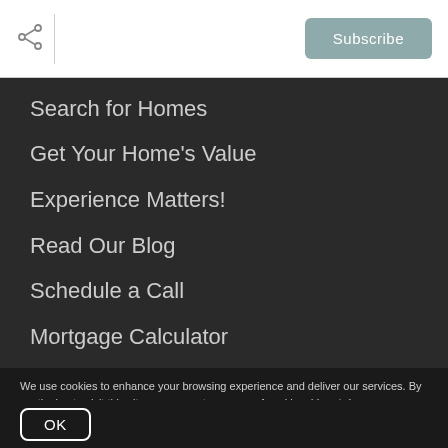[Figure (other): Share icon (network/share symbol) in gray, followed by a vertical divider line]
[Figure (other): Subscribe button with teal/sage green background and white text]
Search for Homes
Get Your Home's Value
Experience Matters!
Read Our Blog
Schedule a Call
Mortgage Calculator
We use cookies to enhance your browsing experience and deliver our services. By continuing to visit this site, you agree to our use of cookies. More Info
OK